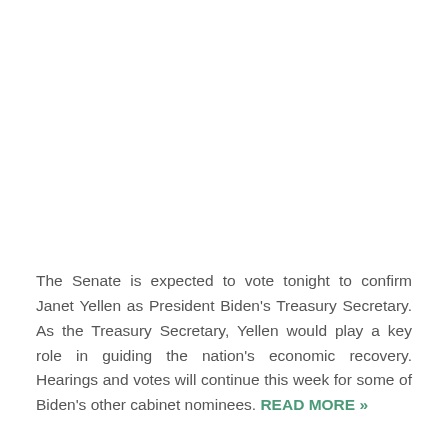The Senate is expected to vote tonight to confirm Janet Yellen as President Biden's Treasury Secretary. As the Treasury Secretary, Yellen would play a key role in guiding the nation's economic recovery. Hearings and votes will continue this week for some of Biden's other cabinet nominees. READ MORE »